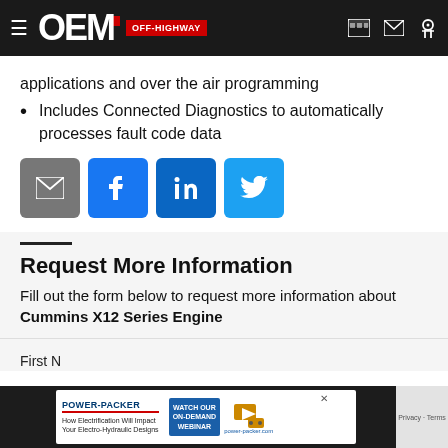OEM OFF-HIGHWAY
applications and over the air programming
Includes Connected Diagnostics to automatically processes fault code data
[Figure (infographic): Social share buttons: email (grey), Facebook (blue), LinkedIn (blue), Twitter (light blue)]
Request More Information
Fill out the form below to request more information about Cummins X12 Series Engine
First N...
[Figure (infographic): Power-Packer advertisement banner: How Electrification Will Impact Your Electro-Hydraulic Designs, Watch Our On-Demand Webinar, power-packer.com]